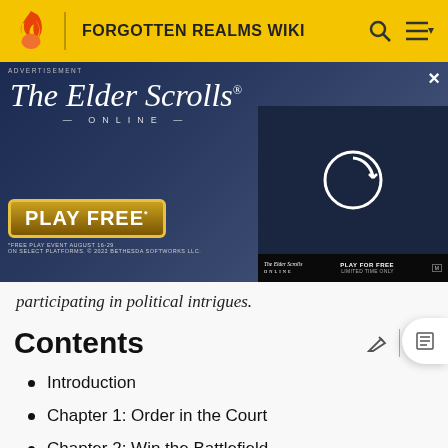FORGOTTEN REALMS WIKI
[Figure (screenshot): The Elder Scrolls Online advertisement banner with 'PLAY FREE' button and video overlay]
participating in political intrigues.
Contents
Introduction
Chapter 1: Order in the Court
Chapter 2: Win the Battlefield
Chapter 3: Keep the Faith